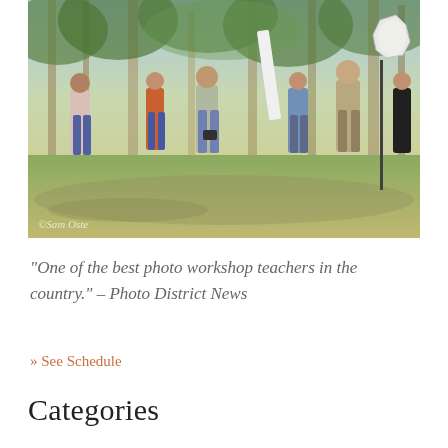[Figure (photo): Outdoor photography workshop scene in a eucalyptus forest. A group of approximately ten people are gathered on a dirt path among gum trees. Some participants hold cameras, and a large octagonal studio softbox on a stand is visible on the right side. A photographer in a checkered shirt stands near the light setup. A watermark reading '©Sam Oste[r]' is visible at the bottom left of the photo.]
“One of the best photo workshop teachers in the country.” – Photo District News
» See Schedule
Categories